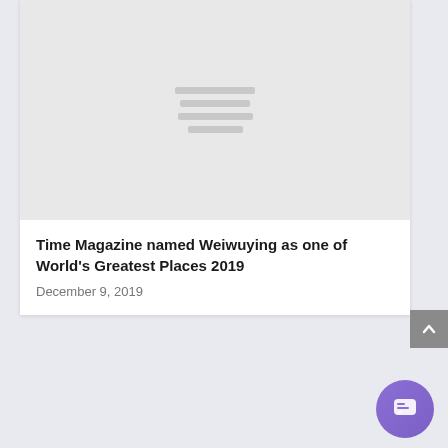[Figure (photo): Grey placeholder image with horizontal lines in the center, representing a loading or missing image thumbnail]
Time Magazine named Weiwuying as one of World's Greatest Places 2019
December 9, 2019
LEAVE A REPLY
Your email address will not be published. Required fields are marked *